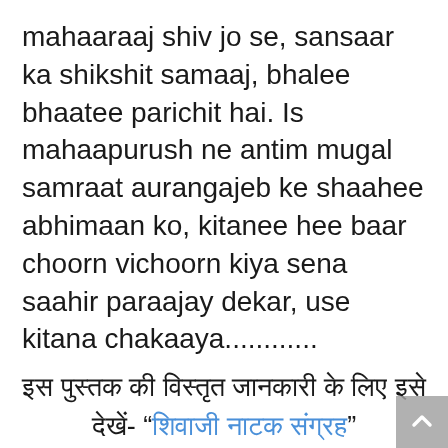mahaaraaj shiv jo se, sansaar ka shikshit samaaj, bhalee bhaatee parichit hai. Is mahaapurush ne antim mugal samraat aurangajeb ke shaahee abhimaan ko, kitanee hee baar choorn vichoorn kiya sena saahir paraajay dekar, use kitana chakaaya............
[Hindi text block with link]
Description about eBook : This drama is composed in the theatrical form of the heroism, the famous famous hero, Shiromani Maharaj, Shiva, from which, the educated society of the world, the goodness is familiar.